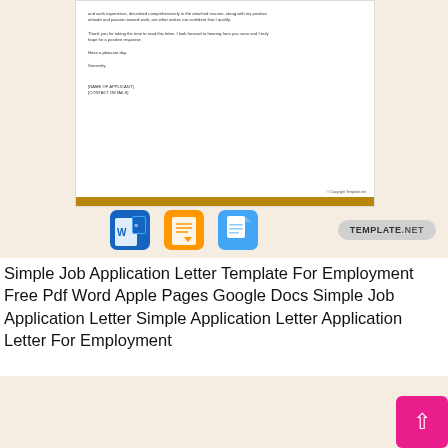[Figure (screenshot): Screenshot of a job application letter template document preview with gold bar at bottom, three app icons (Word, Apple Pages, Google Docs) and a Template.net badge]
Simple Job Application Letter Template For Employment Free Pdf Word Apple Pages Google Docs Simple Job Application Letter Simple Application Letter Application Letter For Employment
[Figure (screenshot): Bottom portion of another template screenshot with orange bar element visible]